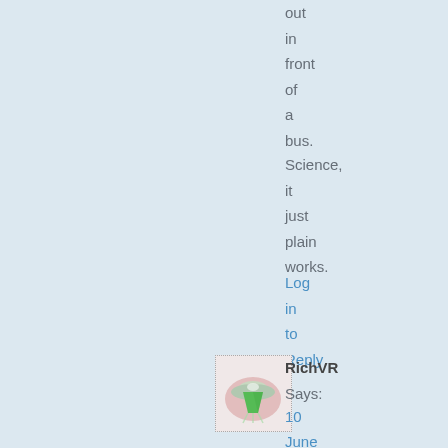out
in
front
of
a
bus.
Science,
it
just
plain
works.
Log
in
to
Reply
[Figure (illustration): Avatar icon showing a UFO/alien spaceship graphic with green pyramid shape and dotted border]
RichVR
Says:
10
June
2007